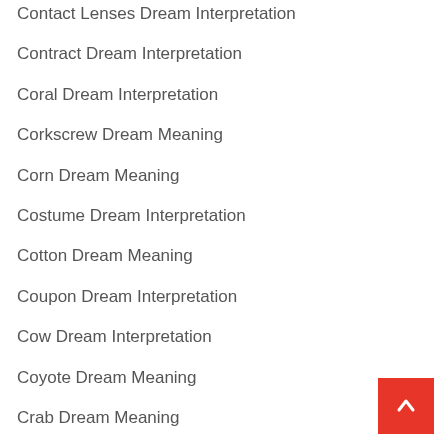Contact Lenses Dream Interpretation
Contract Dream Interpretation
Coral Dream Interpretation
Corkscrew Dream Meaning
Corn Dream Meaning
Costume Dream Interpretation
Cotton Dream Meaning
Coupon Dream Interpretation
Cow Dream Interpretation
Coyote Dream Meaning
Crab Dream Meaning